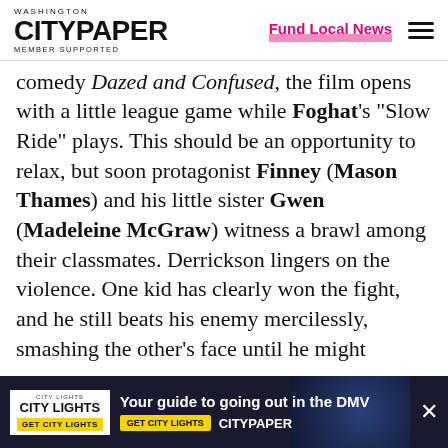Washington City Paper — Member Supported | Fund Local News
comedy Dazed and Confused, the film opens with a little league game while Foghat's “Slow Ride” plays. This should be an opportunity to relax, but soon protagonist Finney (Mason Thames) and his little sister Gwen (Madeleine McGraw) witness a brawl among their classmates. Derrickson lingers on the violence. One kid has clearly won the fight, and he still beats his enemy mercilessly, smashing the other’s face until he might
[Figure (screenshot): City Lights advertisement banner at bottom of page reading 'Your guide to going out in the DMV' with City Lights and CityPaper branding]